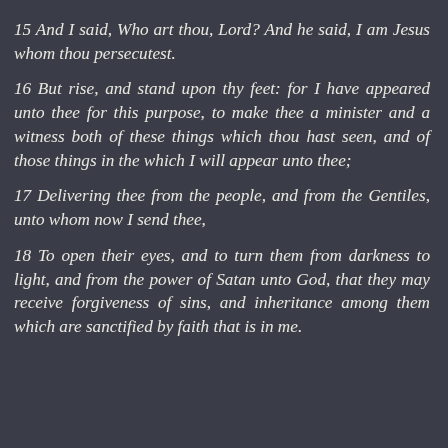15 And I said, Who art thou, Lord? And he said, I am Jesus whom thou persecutest.
16 But rise, and stand upon thy feet: for I have appeared unto thee for this purpose, to make thee a minister and a witness both of these things which thou hast seen, and of those things in the which I will appear unto thee;
17 Delivering thee from the people, and from the Gentiles, unto whom now I send thee,
18 To open their eyes, and to turn them from darkness to light, and from the power of Satan unto God, that they may receive forgiveness of sins, and inheritance among them which are sanctified by faith that is in me.